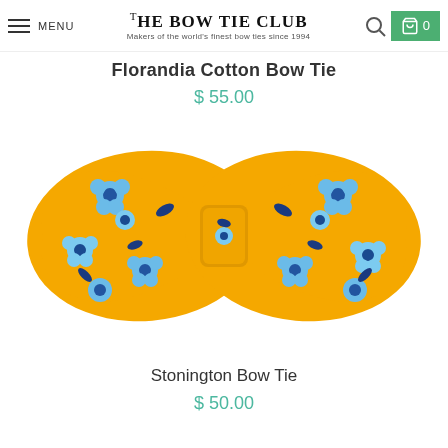THE BOW TIE CLUB — Makers of the world's finest bow ties since 1994
Florandia Cotton Bow Tie
$ 55.00
[Figure (photo): Yellow bow tie with blue floral pattern on white background]
Stonington Bow Tie
$ 50.00